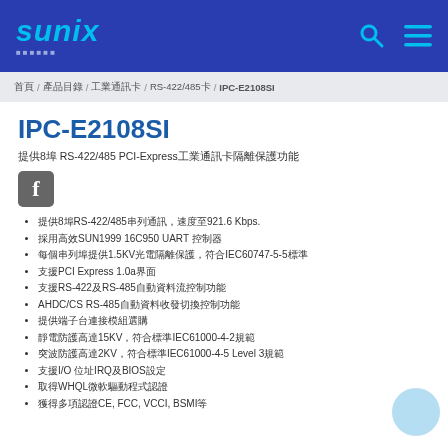SUNIX | 工業電腦產品
首頁 / 產品目錄 / 工業通訊卡 / RS-422/485卡 / IPC-E2108SI
IPC-E2108SI
提供8埠 RS-422/485 PCI-Express工業通訊卡隔離保護功能
提供8埠RS-422/485串列通訊，速度至921.6 Kbps.
採用高效SUN1999 16C950 UART 控制器
每個串列埠提供1.5KV光電隔離保護，符合IEC60747-5-5標準
支援PCI Express 1.0a界面
支援RS-422及RS-485自動資料流控制功能
AHDC/CS RS-485自動資料收發切換控制功能
提供端子台連接模組選購
靜電防護高達15KV，符合標準IEC61000-4-2規範
突波防護高達2KV，符合標準IEC61000-4-5 Level 3規範
支援I/O 位址IRQ及BIOS設定
取得WHQL微軟驅動程式認證
獲得多項認證CE, FCC, VCCI, BSMI等